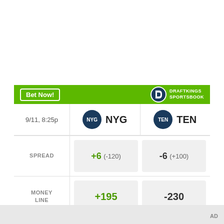[Figure (infographic): DraftKings Sportsbook betting odds widget for NYG vs TEN on 9/11, 8:25p. Shows spread: NYG +6 (-120), TEN -6 (+100). Money line: NYG +195, TEN -230. Over/Under: > 45 (-105), < 45 (-115).]
Odds/Lines subject to change. See draftkings.com for details.
AD